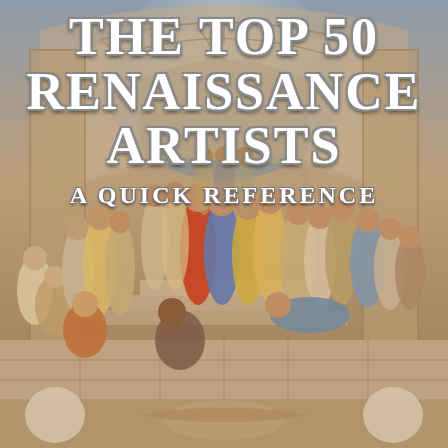[Figure (illustration): Background image of Raphael's 'The School of Athens' fresco, showing a grand architectural hall with classical arches, populated by numerous figures in classical robes engaged in philosophical discussion. The scene depicts ancient Greek philosophers including Plato and Aristotle at the center.]
THE TOP 50 RENAISSANCE ARTISTS A QUICK REFERENCE